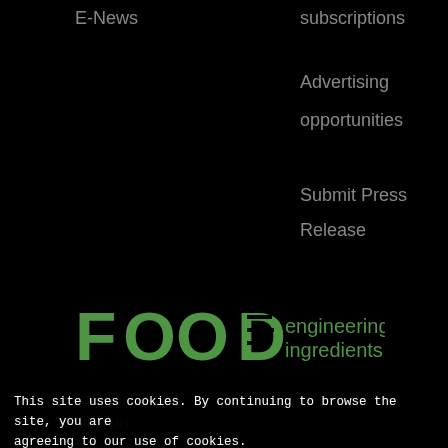E-News
subscriptions
Advertising
opportunities
Submit Press
Release
[Figure (logo): FOOD engineering & ingredients logo — green stylized text]
Parklaan 54b
5613 BH
Eindhoven
The Netherlands
+31 85064...
info@fei-online.com
This site uses cookies. By continuing to browse the site, you are agreeing to our use of cookies.
Accept settings
Hide notification only
Cookie settings